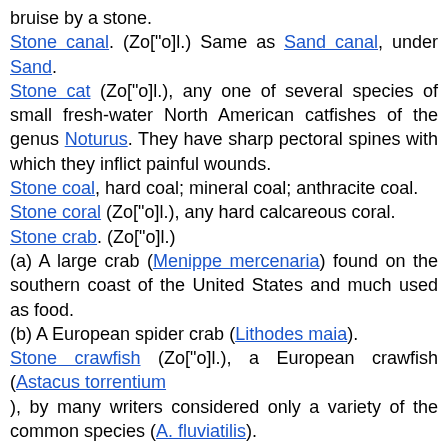bruise by a stone.
Stone canal. (Zo["o]l.) Same as Sand canal, under Sand.
Stone cat (Zo["o]l.), any one of several species of small fresh-water North American catfishes of the genus Noturus. They have sharp pectoral spines with which they inflict painful wounds.
Stone coal, hard coal; mineral coal; anthracite coal.
Stone coral (Zo["o]l.), any hard calcareous coral.
Stone crab. (Zo["o]l.) (a) A large crab (Menippe mercenaria) found on the southern coast of the United States and much used as food. (b) A European spider crab (Lithodes maia).
Stone crawfish (Zo["o]l.), a European crawfish (Astacus torrentium), by many writers considered only a variety of the common species (A. fluviatilis).